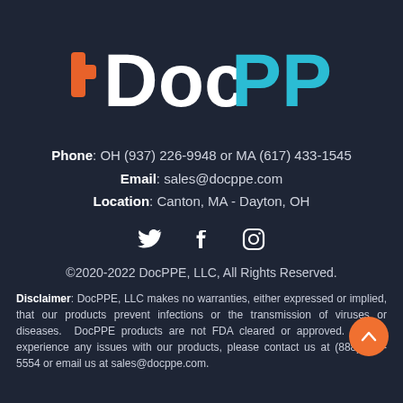[Figure (logo): DocPPE logo: orange plus sign followed by 'Doc' in white and 'PPE' in cyan/light blue, on dark navy background]
Phone: OH (937) 226-9948 or MA (617) 433-1545
Email: sales@docppe.com
Location: Canton, MA - Dayton, OH
[Figure (illustration): Three social media icons: Twitter bird, Facebook f, Instagram camera outline]
©2020-2022 DocPPE, LLC, All Rights Reserved.
Disclaimer: DocPPE, LLC makes no warranties, either expressed or implied, that our products prevent infections or the transmission of viruses or diseases. DocPPE products are not FDA cleared or approved. If you experience any issues with our products, please contact us at (888) 493-5554 or email us at sales@docppe.com.